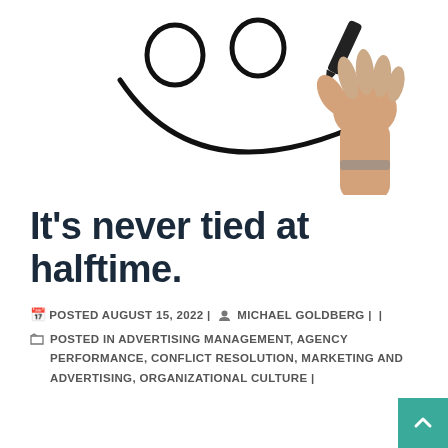[Figure (illustration): A hand holding a marker drawing a smiley face with circles for eyes and a curved arrow for the mouth on a white background, viewed from below.]
It's never tied at halftime.
POSTED AUGUST 15, 2022 | MICHAEL GOLDBERG | |
POSTED IN ADVERTISING MANAGEMENT, AGENCY PERFORMANCE, CONFLICT RESOLUTION, MARKETING AND ADVERTISING, ORGANIZATIONAL CULTURE |